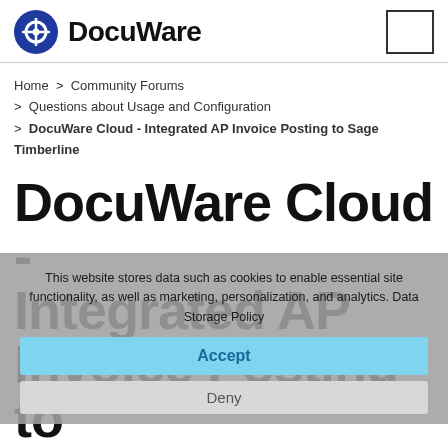DocuWare
Home > Community Forums > Questions about Usage and Configuration > DocuWare Cloud - Integrated AP Invoice Posting to Sage Timberline
DocuWare Cloud - Integrated AP Invoice Posting to Sage Timberline
This website stores data such as cookies to enable essential site functionality, as well as marketing, personalization, and analytics. Data Storage Policy
Accept
Deny